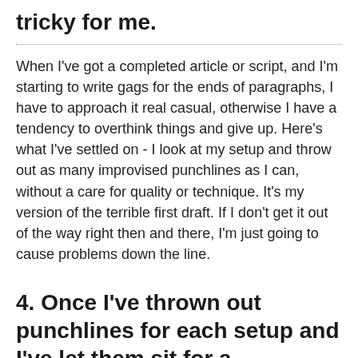tricky for me.
When I've got a completed article or script, and I'm starting to write gags for the ends of paragraphs, I have to approach it real casual, otherwise I have a tendency to overthink things and give up. Here's what I've settled on - I look at my setup and throw out as many improvised punchlines as I can, without a care for quality or technique. It's my version of the terrible first draft. If I don't get it out of the way right then and there, I'm just going to cause problems down the line.
4. Once I've thrown out punchlines for each setup and I've let them sit for a